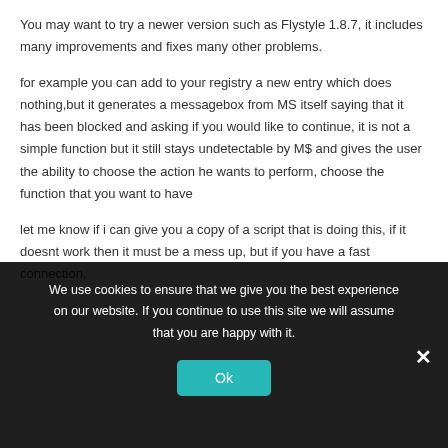You may want to try a newer version such as Flystyle 1.8.7, it includes many improvements and fixes many other problems.
for example you can add to your registry a new entry which does nothing,but it generates a messagebox from MS itself saying that it has been blocked and asking if you would like to continue, it is not a simple function but it still stays undetectable by M$ and gives the user the ability to choose the action he wants to perform, choose the function that you want to have
let me know if i can give you a copy of a script that is doing this, if it doesnt work then it must be a mess up, but if you have a fast connection, you can just send the contents of the “blocked” registry
We use cookies to ensure that we give you the best experience on our website. If you continue to use this site we will assume that you are happy with it.